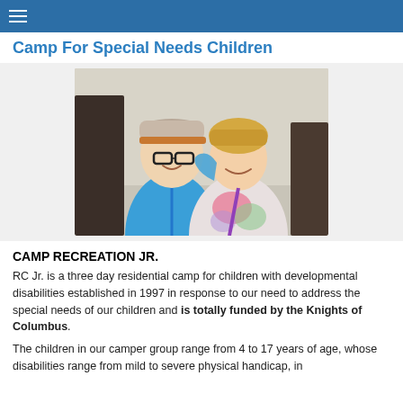≡
Camp For Special Needs Children
[Figure (photo): Two teenage boys smiling and posing together; one wearing a blue shirt and a cap, the other in a tie-dye shirt]
CAMP RECREATION JR.
RC Jr. is a three day residential camp for children with developmental disabilities established in 1997 in response to our need to address the special needs of our children and is totally funded by the Knights of Columbus.
The children in our camper group range from 4 to 17 years of age, whose disabilities range from mild to severe physical handicap, in